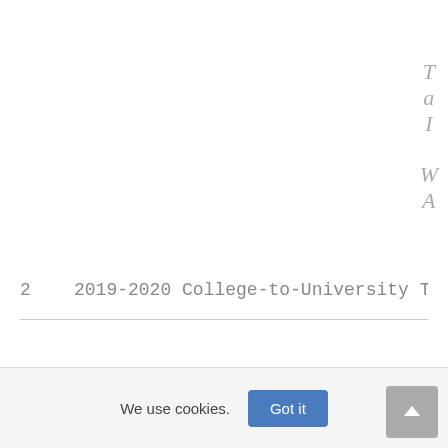T a I W A
2    2019-2020 College-to-University Trans
We use cookies.